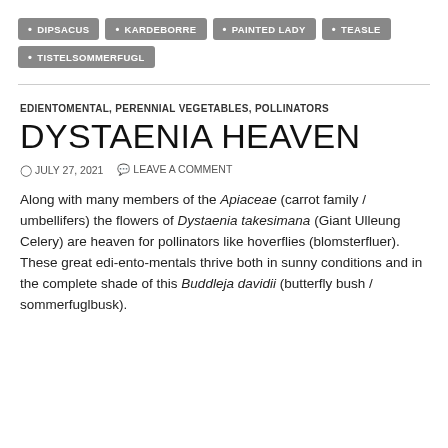DIPSACUS
KARDEBORRE
PAINTED LADY
TEASLE
TISTELSOMMERFUGL
EDIENTOMENTAL, PERENNIAL VEGETABLES, POLLINATORS
DYSTAENIA HEAVEN
JULY 27, 2021  LEAVE A COMMENT
Along with many members of the Apiaceae (carrot family / umbellifers) the flowers of Dystaenia takesimana (Giant Ulleung Celery) are heaven for pollinators like hoverflies (blomsterfluer).
These great edi-ento-mentals thrive both in sunny conditions and in the complete shade of this Buddleja davidii (butterfly bush / sommerfuglbusk).